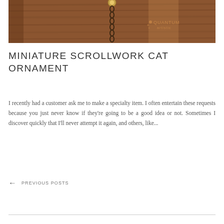[Figure (photo): A steampunk-style miniature cat ornament with scrollwork and chain detail, photographed against a wooden background with a watermark reading 'Quantum Artistic']
MINIATURE SCROLLWORK CAT ORNAMENT
I recently had a customer ask me to make a specialty item. I often entertain these requests because you just never know if they're going to be a good idea or not. Sometimes I discover quickly that I'll never attempt it again, and others, like...
← PREVIOUS POSTS